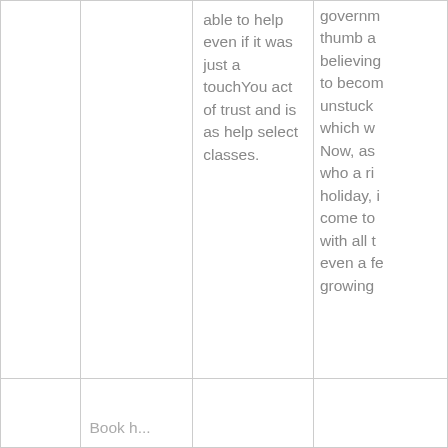|  |  | able to help even if it was just a touchYou act of trust and is as help select classes. | governm thumb a believing to becom unstuck which w Now, as who a ri holiday, i come to with all t even a fe growing |
|  | Book h... |  |  |